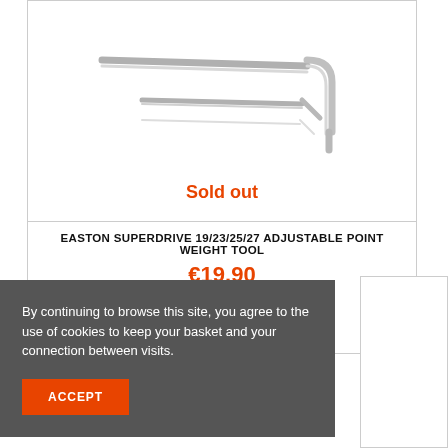[Figure (photo): Product image of Easton Superdrive allen key / hex wrench tool, shown against white background. Two metal hex wrenches (L-shaped) are visible.]
Sold out
EASTON SUPERDRIVE 19/23/25/27 ADJUSTABLE POINT WEIGHT TOOL
€19.90
VIEW
By continuing to browse this site, you agree to the use of cookies to keep your basket and your connection between visits.
ACCEPT